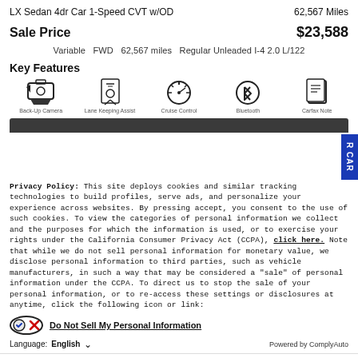LX Sedan 4dr Car 1-Speed CVT w/OD   62,567 Miles
Sale Price   $23,588
Variable   FWD   62,567 miles   Regular Unleaded I-4 2.0 L/122
Key Features
[Figure (infographic): Five key feature icons: Back-Up Camera, Lane Keeping Assist, Cruise Control, Bluetooth, Carfax Note]
Privacy Policy: This site deploys cookies and similar tracking technologies to build profiles, serve ads, and personalize your experience across websites. By pressing accept, you consent to the use of such cookies. To view the categories of personal information we collect and the purposes for which the information is used, or to exercise your rights under the California Consumer Privacy Act (CCPA), click here. Note that while we do not sell personal information for monetary value, we disclose personal information to third parties, such as vehicle manufacturers, in such a way that may be considered a "sale" of personal information under the CCPA. To direct us to stop the sale of your personal information, or to re-access these settings or disclosures at anytime, click the following icon or link:
Do Not Sell My Personal Information
Language: English   Powered by ComplyAuto
Accept and Continue →   California Privacy Disclosures